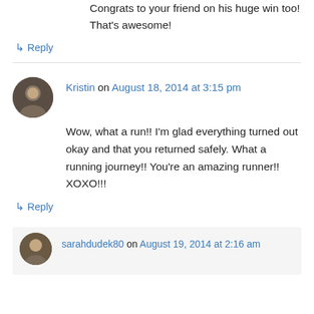Congrats to your friend on his huge win too! That's awesome!
↪ Reply
Kristin on August 18, 2014 at 3:15 pm
Wow, what a run!! I'm glad everything turned out okay and that you returned safely. What a running journey!! You're an amazing runner!! XOXO!!!
↪ Reply
sarahdudek80 on August 19, 2014 at 2:16 am